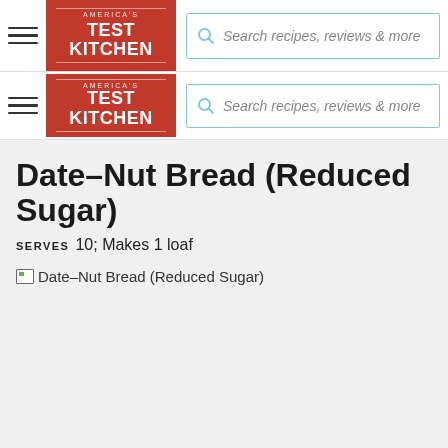America's Test Kitchen — Search recipes, reviews & more (navigation bar 1)
America's Test Kitchen — Search recipes, reviews & more (navigation bar 2)
Date–Nut Bread (Reduced Sugar)
SERVES  10; Makes 1 loaf
[Figure (photo): Broken image placeholder for Date–Nut Bread (Reduced Sugar) recipe photo]